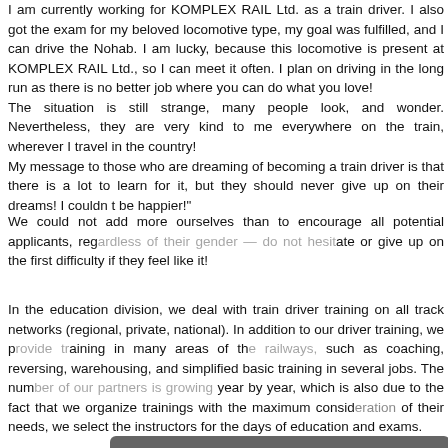I am currently working for KOMPLEX RAIL Ltd. as a train driver. I also got the exam for my beloved locomotive type, my goal was fulfilled, and I can drive the Nohab. I am lucky, because this locomotive is present at KOMPLEX RAIL Ltd., so I can meet it often. I plan on driving in the long run as there is no better job where you can do what you love! The situation is still strange, many people look, and wonder. Nevertheless, they are very kind to me everywhere on the train, wherever I travel in the country! My message to those who are dreaming of becoming a train driver is that there is a lot to learn for it, but they should never give up on their dreams! I couldn t be happier!"
We could not add more ourselves than to encourage all potential applicants, regardless of their gender — do not hesitate or give up on the first difficulty if they feel like it!
In the education division, we deal with train driver training on all track networks (regional, private, national). In addition to our driver training, we provide training in many areas of the railways, such as coaching, reversing, warehousing, and simplified basic training in several jobs. The number of our partners is growing year by year, which is also due to the fact that we organize trainings with the maximum consideration of their needs, we select the instructors for the days of education and exams.
[Figure (screenshot): Cookie consent overlay with title 'This website uses cookies', body text about cookie policy, green 'I agree' button, red 'I disagree' button, and grey 'Read more' button.]